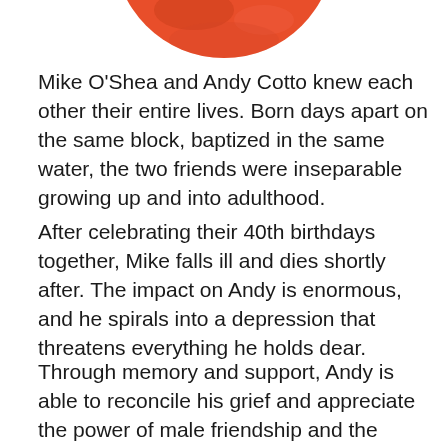[Figure (photo): Partial view of a circular photo, showing the bottom portion of what appears to be a person wearing a red/orange garment, cropped at top of page.]
Mike O'Shea and Andy Cotto knew each other their entire lives. Born days apart on the same block, baptized in the same water, the two friends were inseparable growing up and into adulthood.
After celebrating their 40th birthdays together, Mike falls ill and dies shortly after. The impact on Andy is enormous, and he spirals into a depression that threatens everything he holds dear.
Through memory and support, Andy is able to reconcile his grief and appreciate the power of male friendship and the beauty of life.
Pero Mike siguió tirando, tanto en la cama como el the